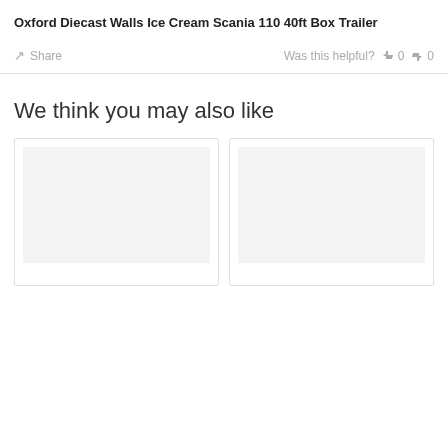Oxford Diecast Walls Ice Cream Scania 110 40ft Box Trailer
Share   Was this helpful?  0  0
We think you may also like
[Figure (other): Two product image placeholder cards shown side by side, both with light gray empty image areas inside bordered white card containers.]